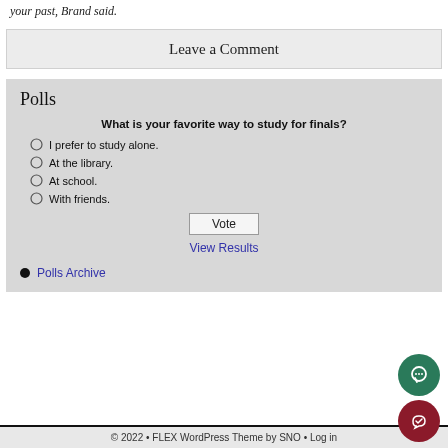your past,  Brand said.
Leave a Comment
Polls
What is your favorite way to study for finals?
I prefer to study alone.
At the library.
At school.
With friends.
Vote
View Results
Polls Archive
© 2022 • FLEX WordPress Theme by SNO • Log in